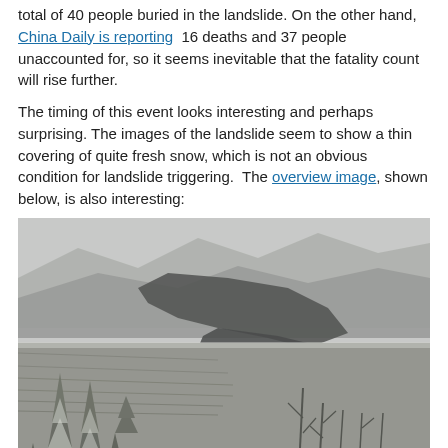total of 40 people buried in the landslide. On the other hand, China Daily is reporting 16 deaths and 37 people unaccounted for, so it seems inevitable that the fatality count will rise further.
The timing of this event looks interesting and perhaps surprising. The images of the landslide seem to show a thin covering of quite fresh snow, which is not an obvious condition for landslide triggering. The overview image, shown below, is also interesting:
[Figure (photo): Overview photograph of a landslide area in winter conditions, showing snow-covered mountains in the background with a large dark landslide scar, and snow-dusted conifer trees in the foreground with terraced hillsides visible in the middle ground. The image is in muted grey tones with some brown earth visible at the lower right.]